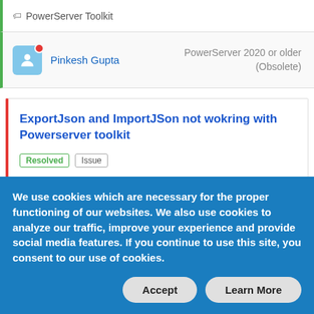PowerServer Toolkit
Pinkesh Gupta | PowerServer 2020 or older (Obsolete)
ExportJson and ImportJSon not wokring with Powerserver toolkit
Resolved | Issue
Last updated 3 years ago · Pinkesh Gupta replied 3 years ago
| replies | views | votes |
| --- | --- | --- |
| 2 | 1509 | 0 |
We use cookies which are necessary for the proper functioning of our websites. We also use cookies to analyze our traffic, improve your experience and provide social media features. If you continue to use this site, you consent to our use of cookies.
Accept | Learn More